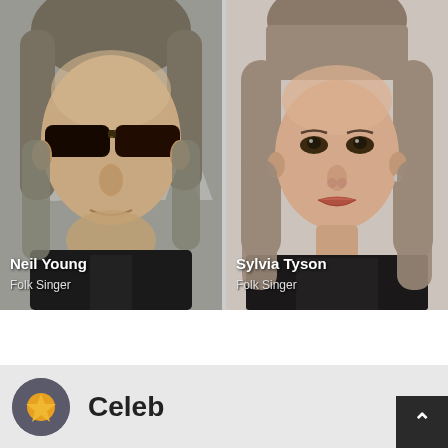[Figure (photo): Photo of Neil Young, a man with grey hair and dark sunglasses, wearing a dark jacket]
Neil Young
Folk Singer
[Figure (photo): Photo of Sylvia Tyson, a woman with grey-brown hair and bangs, wearing dark clothing]
Sylvia Tyson
Folk Singer
[Figure (logo): Small circular logo icon with gold/orange symbol on dark background, followed by bold text 'Celeb']